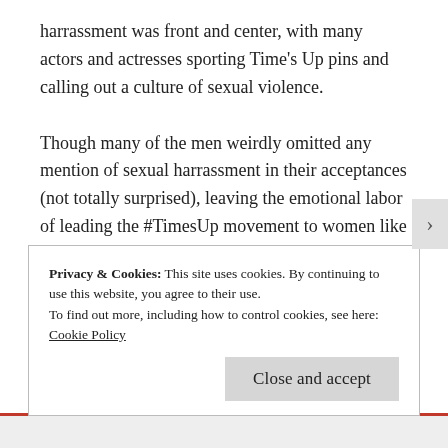harrassment was front and center, with many actors and actresses sporting Time's Up pins and calling out a culture of sexual violence.

Though many of the men weirdly omitted any mention of sexual harrassment in their acceptances (not totally surprised), leaving the emotional labor of leading the #TimesUp movement to women like Natalie Portman, who boldly challenged the Globes' failure to nominate any female directors. And Oprah! Oprah gave a rousing speech that led many to speculate she should be the
Privacy & Cookies: This site uses cookies. By continuing to use this website, you agree to their use.
To find out more, including how to control cookies, see here: Cookie Policy